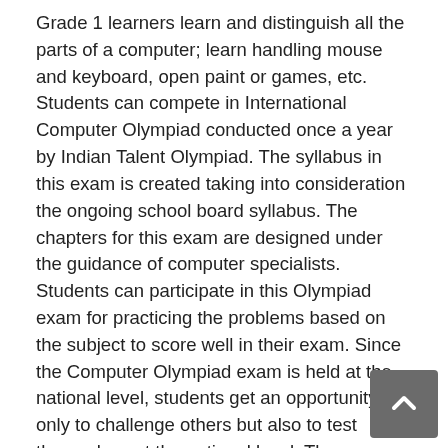Grade 1 learners learn and distinguish all the parts of a computer; learn handling mouse and keyboard, open paint or games, etc. Students can compete in International Computer Olympiad conducted once a year by Indian Talent Olympiad. The syllabus in this exam is created taking into consideration the ongoing school board syllabus. The chapters for this exam are designed under the guidance of computer specialists. Students can participate in this Olympiad exam for practicing the problems based on the subject to score well in their exam. Since the Computer Olympiad exam is held at the national level, students get an opportunity not only to challenge others but also to test themselves at the national level. The computer Olympiad will be for a limited time. 45 minutes for online and 65 minutes for offline exams are allocated. Students need to complete the exam within the given time limit. Registering for International Computer Olympiad is pretty simple. Students need to register through their respective